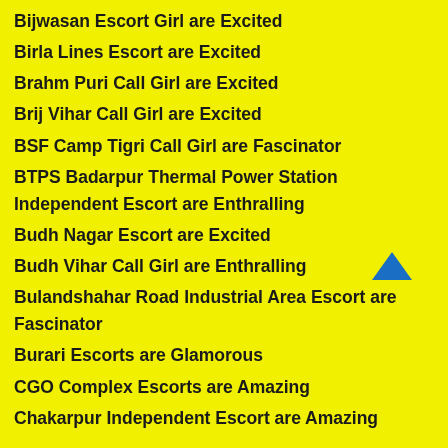Bijwasan Escort Girl are Excited
Birla Lines Escort are Excited
Brahm Puri Call Girl are Excited
Brij Vihar Call Girl are Excited
BSF Camp Tigri Call Girl are Fascinator
BTPS Badarpur Thermal Power Station Independent Escort are Enthralling
Budh Nagar Escort are Excited
Budh Vihar Call Girl are Enthralling
Bulandshahar Road Industrial Area Escort are Fascinator
Burari Escorts are Glamorous
CGO Complex Escorts are Amazing
Chakarpur Independent Escort are Amazing